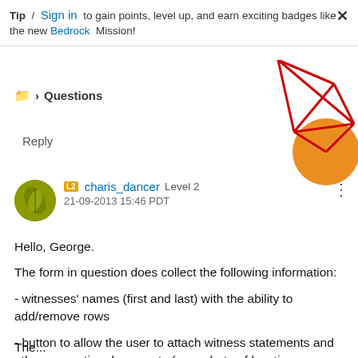Tip / Sign in to gain points, level up, and earn exciting badges like the new Bedrock Mission!
[Figure (illustration): Decorative geometric graphic with red lines forming diamond/polygon shapes and an orange circle, partially visible in top-right corner]
🗀 > Questions
Reply
charis_dancer Level 2
21-09-2013 15:46 PDT
Hello, George.
The form in question does collect the following information:
- witnesses' names (first and last) with the ability to add/remove rows
- button to allow the user to attach witness statements and other supporting documents (e.g., photo of location, hazards, wounds/injuries)
The...